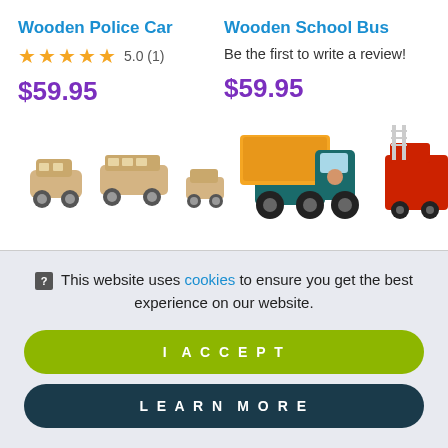Wooden Police Car
★★★★★ 5.0 (1)
$59.95
Wooden School Bus
Be the first to write a review!
$59.95
[Figure (photo): Wooden toy vehicles (police car, school bus) on the left; colorful plastic dump truck and red fire truck on the right]
❓ This website uses cookies to ensure you get the best experience on our website.
I ACCEPT
LEARN MORE